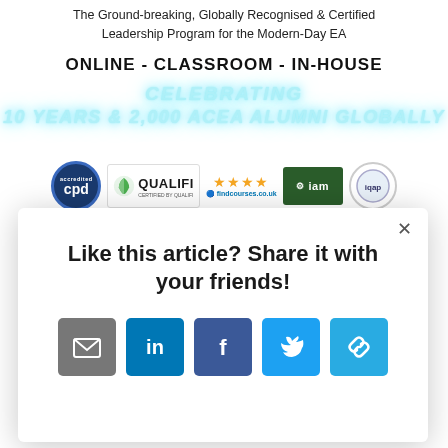The Ground-breaking, Globally Recognised & Certified Leadership Program for the Modern-Day EA
ONLINE - CLASSROOM - IN-HOUSE
[Figure (other): Decorative text in cyan/teal glowing italic font: CELEBRATING / 10 YEARS & 2,000 ACEA ALUMNI GLOBALLY]
[Figure (other): Row of logos: CPD (blue circle), QUALIFI (certified by qualifi), findcourses.co.uk with 4 stars, iam (green box), last circle logo]
Like this article? Share it with your friends!
[Figure (other): Share buttons: email (grey), LinkedIn (blue), Facebook (dark blue), Twitter (light blue), link (light blue)]